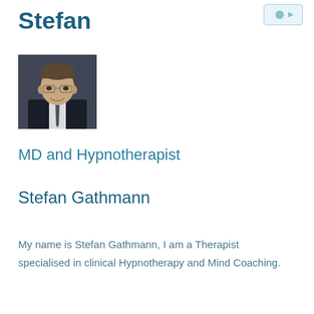Stefan
[Figure (photo): Professional headshot of Stefan Gathmann, a man with glasses wearing a dark suit and tie, smiling, photographed against a dark background.]
MD and Hypnotherapist
Stefan Gathmann
My name is Stefan Gathmann, I am a Therapist specialised in clinical Hypnotherapy and Mind Coaching.